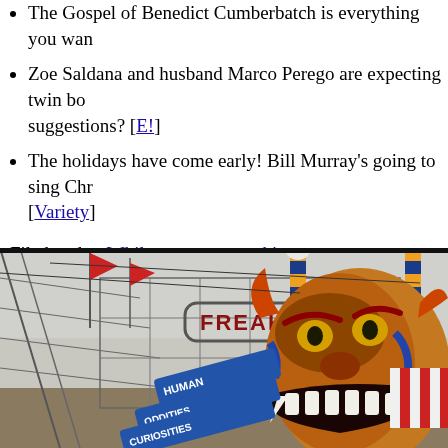The Gospel of Benedict Cumberbatch is everything you wan...
Zoe Saldana and husband Marco Perego are expecting twin bo... suggestions? [E!]
The holidays have come early! Bill Murray's going to sing Chr... [Variety]
Filed under: While you were working
[Figure (photo): Outdoor carnival freak show entrance with a large demon/monster head sculpture with open mouth showing fangs, blue and orange striped antennae poles, and a sign reading 'FREAK' and signs for 'HUMAN ODDITIES CURIOSITIES'. Striped tent visible in background.]